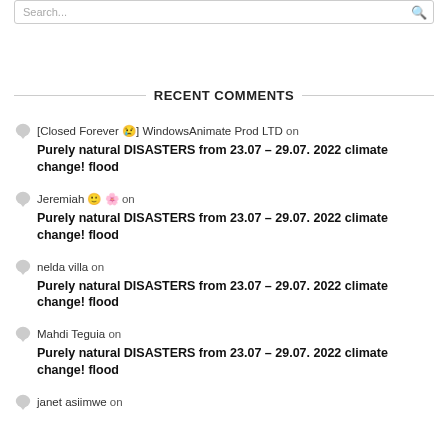Search...
RECENT COMMENTS
[Closed Forever 😢] WindowsAnimate Prod LTD on
Purely natural DISASTERS from 23.07 – 29.07. 2022 climate change! flood
Jeremiah 🙂 🌸 on
Purely natural DISASTERS from 23.07 – 29.07. 2022 climate change! flood
nelda villa on
Purely natural DISASTERS from 23.07 – 29.07. 2022 climate change! flood
Mahdi Teguia on
Purely natural DISASTERS from 23.07 – 29.07. 2022 climate change! flood
janet asiimwe on